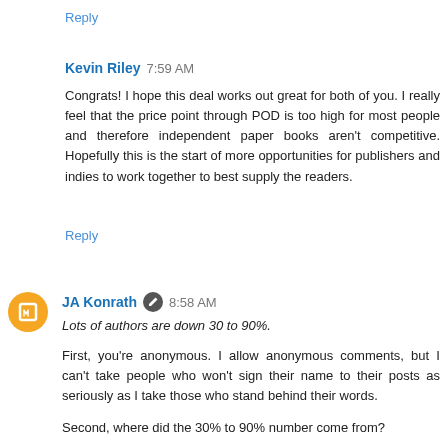Reply
Kevin Riley  7:59 AM
Congrats! I hope this deal works out great for both of you. I really feel that the price point through POD is too high for most people and therefore independent paper books aren't competitive. Hopefully this is the start of more opportunities for publishers and indies to work together to best supply the readers.
Reply
JA Konrath  8:58 AM
Lots of authors are down 30 to 90%.
First, you're anonymous. I allow anonymous comments, but I can't take people who won't sign their name to their posts as seriously as I take those who stand behind their words.
Second, where did the 30% to 90% number come from?